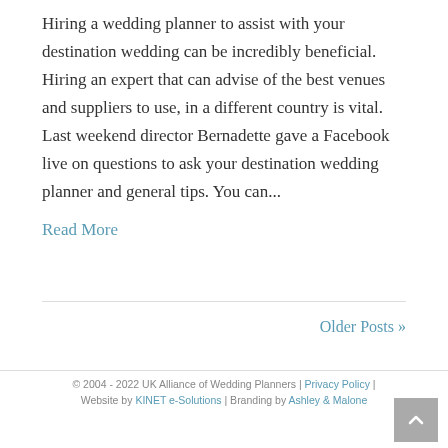Hiring a wedding planner to assist with your destination wedding can be incredibly beneficial. Hiring an expert that can advise of the best venues and suppliers to use, in a different country is vital. Last weekend director Bernadette gave a Facebook live on questions to ask your destination wedding planner and general tips. You can...
Read More
Older Posts »
© 2004 - 2022 UK Alliance of Wedding Planners | Privacy Policy | Website by KINET e-Solutions | Branding by Ashley & Malone